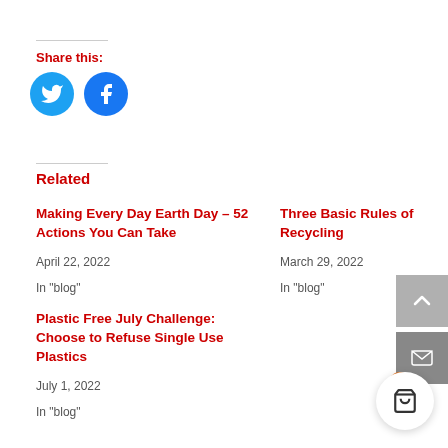Share this:
[Figure (other): Twitter and Facebook social share buttons (circular blue icons)]
Related
Making Every Day Earth Day – 52 Actions You Can Take
April 22, 2022
In "blog"
Three Basic Rules of Recycling
March 29, 2022
In "blog"
Plastic Free July Challenge: Choose to Refuse Single Use Plastics
July 1, 2022
In "blog"